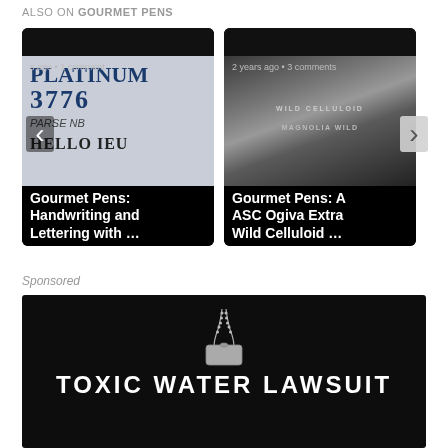ALSO ON GOURMET PENS
[Figure (screenshot): Card showing handwriting with Platinum 3776 pen. Text overlay: 's ago • 1 comment'. Title: 'Gourmet Pens: Handwriting and Lettering with ...']
[Figure (screenshot): Card showing a fountain pen with wild celluloid pattern. Text overlay: '2 years ago • 3 comments'. Title: 'Gourmet Pens: ASC Ogiva Extra Wild Celluloid ...']
Sponsored
[Figure (photo): Black background advertisement image showing dog tags on a chain with text 'TOXIC WATER LAWSUIT']